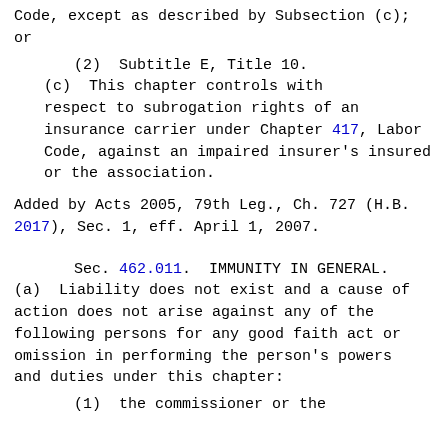Code, except as described by Subsection (c); or
(2)  Subtitle E, Title 10.
(c)  This chapter controls with respect to subrogation rights of an insurance carrier under Chapter 417, Labor Code, against an impaired insurer's insured or the association.
Added by Acts 2005, 79th Leg., Ch. 727 (H.B. 2017), Sec. 1, eff. April 1, 2007.
Sec. 462.011.  IMMUNITY IN GENERAL.
(a)  Liability does not exist and a cause of action does not arise against any of the following persons for any good faith act or omission in performing the person's powers and duties under this chapter:
(1)  the commissioner or the